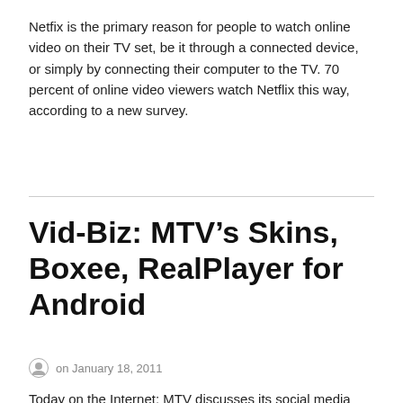Netfix is the primary reason for people to watch online video on their TV set, be it through a connected device, or simply by connecting their computer to the TV. 70 percent of online video viewers watch Netflix this way, according to a new survey.
Vid-Biz: MTV’s Skins, Boxee, RealPlayer for Android
on January 18, 2011
Today on the Internet: MTV discusses its social media